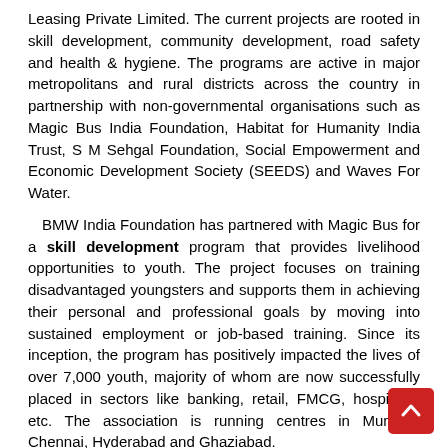Leasing Private Limited. The current projects are rooted in skill development, community development, road safety and health & hygiene. The programs are active in major metropolitans and rural districts across the country in partnership with non-governmental organisations such as Magic Bus India Foundation, Habitat for Humanity India Trust, S M Sehgal Foundation, Social Empowerment and Economic Development Society (SEEDS) and Waves For Water.
BMW India Foundation has partnered with Magic Bus for a skill development program that provides livelihood opportunities to youth. The project focuses on training disadvantaged youngsters and supports them in achieving their personal and professional goals by moving into sustained employment or job-based training. Since its inception, the program has positively impacted the lives of over 7,000 youth, majority of whom are now successfully placed in sectors like banking, retail, FMCG, hospitality etc. The association is running centres in Mumbai, Chennai, Hyderabad and Ghaziabad.